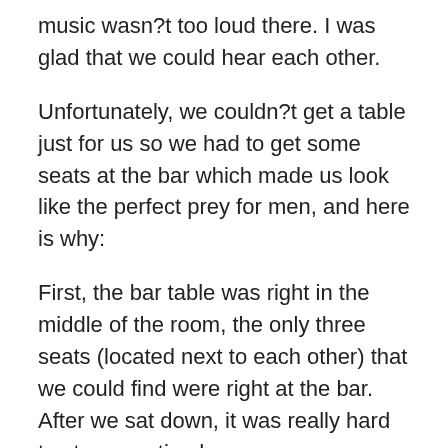music wasn?t too loud there. I was glad that we could hear each other.
Unfortunately, we couldn?t get a table just for us so we had to get some seats at the bar which made us look like the perfect prey for men, and here is why:
First, the bar table was right in the middle of the room, the only three seats (located next to each other) that we could find were right at the bar. After we sat down, it was really hard to stay unnoticed.
Secondly, I observed that there were waaay more men than women.
It is also important to mention that my friends